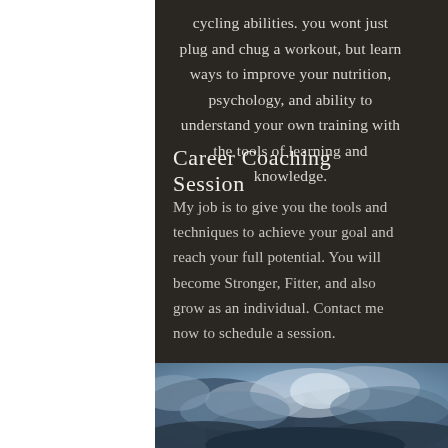cycling abilities. you wont just plug and chug a workout, but learn ways to improve your nutrition, psychology, and ability to understand your own training with the tools of learning and knowledge.
Career Coaching Session
My job is to give you the tools and techniques to achieve your goal and reach your full potential. You will become Stronger, Fitter, and also grow as an individual. Contact me now to schedule a session.
[Figure (photo): Dramatic cloudy sky with blue-grey storm clouds]